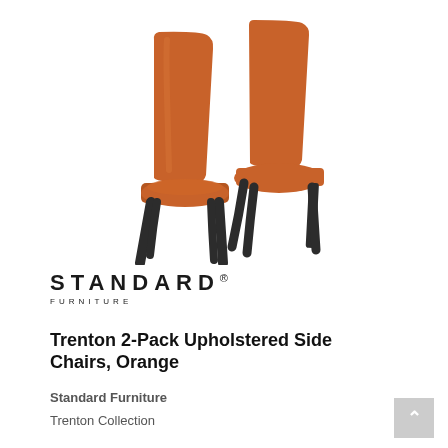[Figure (photo): Two orange upholstered side chairs with dark wood legs arranged in an overlapping composition against a white background. The chairs have tall backs and cushioned seats in a burnt orange/rust fabric.]
[Figure (logo): Standard Furniture logo: 'STANDARD' in bold spaced serif letters with a registered trademark symbol, and 'FURNITURE' in smaller spaced letters below.]
Trenton 2-Pack Upholstered Side Chairs, Orange
Standard Furniture
Trenton Collection